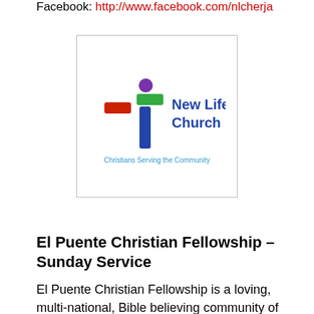Facebook: http://www.facebook.com/nlcherja
[Figure (logo): New Life Church logo with colorful cross figure and text 'New Life Church' and tagline 'Christians Serving the Community']
El Puente Christian Fellowship – Sunday Service
El Puente Christian Fellowship is a loving, multi-national, Bible believing community of Christ, who meet each Sunday at 11 am to worship The Lord. We enjoy a time of worship with contemporary songs and traditional hymns, and a message